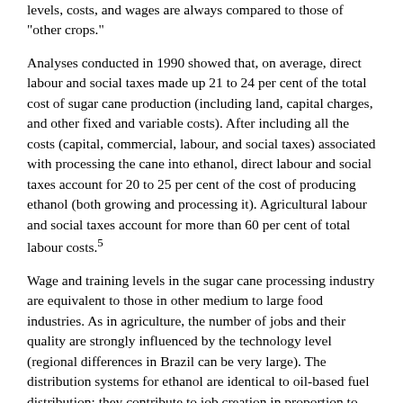levels, costs, and wages are always compared to those of "other crops."
Analyses conducted in 1990 showed that, on average, direct labour and social taxes made up 21 to 24 per cent of the total cost of sugar cane production (including land, capital charges, and other fixed and variable costs). After including all the costs (capital, commercial, labour, and social taxes) associated with processing the cane into ethanol, direct labour and social taxes account for 20 to 25 per cent of the cost of producing ethanol (both growing and processing it). Agricultural labour and social taxes account for more than 60 per cent of total labour costs.5
Wage and training levels in the sugar cane processing industry are equivalent to those in other medium to large food industries. As in agriculture, the number of jobs and their quality are strongly influenced by the technology level (regional differences in Brazil can be very large). The distribution systems for ethanol are identical to oil-based fuel distribution; they contribute to job creation in proportion to the amount of fuel